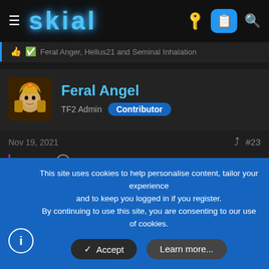skial
Feral Anger, Hellus21 and Seminal Inhalation
Feral Angel
TF2 Admin  Contributor
Nov 19, 2021  #23
pax said:
Yes, I'm saying that 750 damage minimum is balanced,
This site uses cookies to help personalise content, tailor your experience and to keep you logged in if you register.
By continuing to use this site, you are consenting to our use of cookies.
Accept  Learn more...